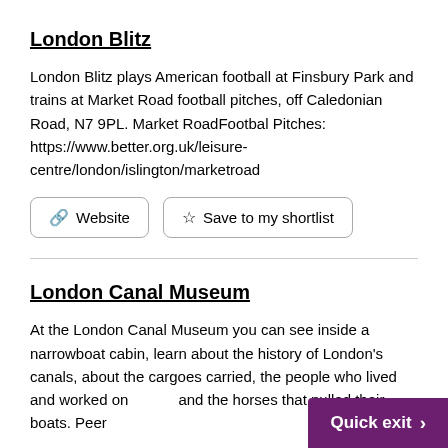London Blitz
London Blitz plays American football at Finsbury Park and trains at Market Road football pitches, off Caledonian Road, N7 9PL. Market RoadFootbal Pitches: https://www.better.org.uk/leisure-centre/london/islington/marketroad
🔗 Website
☆ Save to my shortlist
London Canal Museum
At the London Canal Museum you can see inside a narrowboat cabin, learn about the history of London's canals, about the cargoes carried, the people who lived and worked on and the horses that pulled their boats. Peer